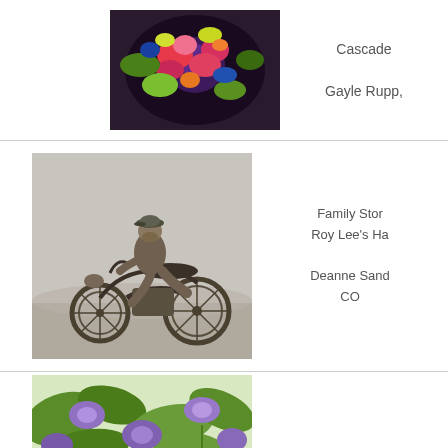[Figure (photo): Colorful digital art photo with pink, red, purple and green tropical floral explosion]
Cascade

Gayle Rupp,
[Figure (photo): Black and white vintage photograph of a man sitting on a motorcycle outdoors]
Family Stor
Roy Lee's Ha

Deanne Sand
CO
[Figure (photo): Watercolor or painting of purple and green botanical leaves and flowers]